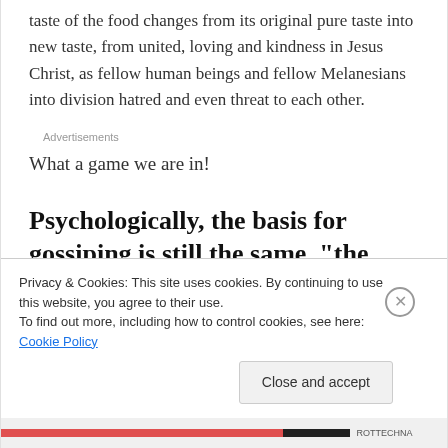taste of the food changes from its original pure taste into new taste, from united, loving and kindness in Jesus Christ, as fellow human beings and fellow Melanesians into division hatred and even threat to each other.
Advertisements
What a game we are in!
Psychologically, the basis for gossiping is still the same, "the
Privacy & Cookies: This site uses cookies. By continuing to use this website, you agree to their use.
To find out more, including how to control cookies, see here: Cookie Policy